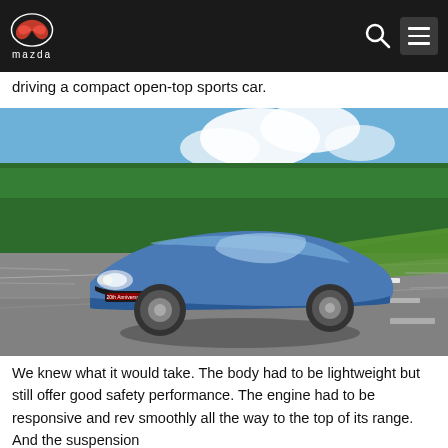Mazda header with logo, search and menu icons
driving a compact open-top sports car.
[Figure (photo): A blue Mazda MX-5 Miata convertible sports car driving on a road with trees and blue sky in the background. The car has a 20th Anniversary badge on the front.]
We knew what it would take. The body had to be lightweight but still offer good safety performance. The engine had to be responsive and rev smoothly all the way to the top of its range. And the suspension